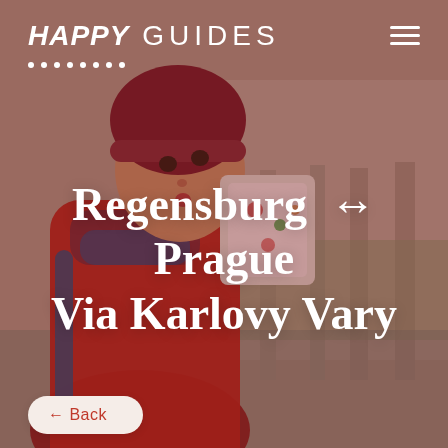[Figure (photo): A woman in a red winter coat and dark red beanie hat holding a decorated box, standing near a stone bridge or railing with a blurred outdoor background. The image has a warm reddish overlay tint.]
HAPPY GUIDES
Regensburg ↔ Prague Via Karlovy Vary
← Back